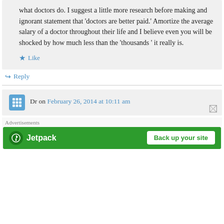what doctors do. I suggest a little more research before making and ignorant statement that ‘doctors are better paid.’ Amortize the average salary of a doctor throughout their life and I believe even you will be shocked by how much less than the ‘thousands ’ it really is.
★ Like
↪ Reply
Dr on February 26, 2014 at 10:11 am
Advertisements
[Figure (logo): Jetpack advertisement banner with 'Back up your site' button on green background]